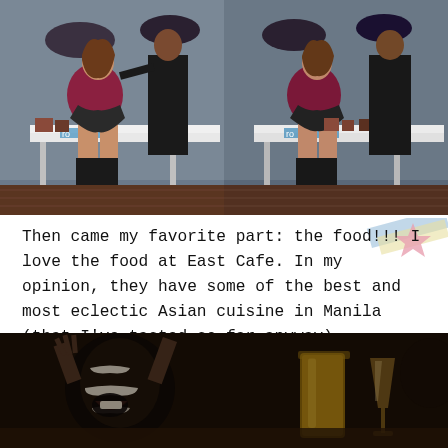[Figure (photo): Two side-by-side photos of a woman sitting on a stool getting makeup applied by a man dressed in black, in what appears to be a cosmetics store or event space with branded backdrop.]
Then came my favorite part: the food!!! I love the food at East Cafe. In my opinion, they have some of the best and most eclectic Asian cuisine in Manila (that I've tasted so far anyway).
[Figure (photo): A dark photo showing people at what appears to be a dinner or event, with glasses of drinks visible.]